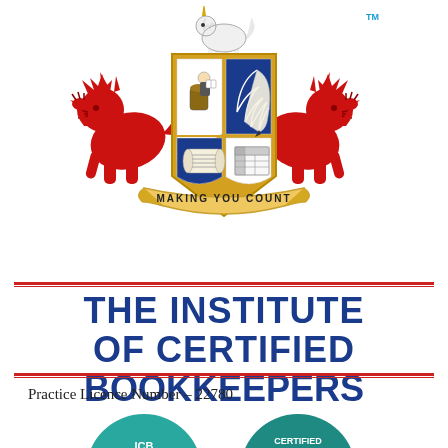[Figure (logo): Institute of Certified Bookkeepers coat of arms logo with two red lions, a unicorn on top, a shield divided into four quarters showing a bookkeeper, a quill pen, a scroll, and a ledger/grid, with a banner reading MAKING YOU COUNT, and TM mark]
THE INSTITUTE OF CERTIFIED BOOKKEEPERS
Practice Licence Number – 22780
[Figure (logo): Two partially visible circular teal/turquoise badge logos at the bottom of the page, the right one showing the word CERTIFIED]